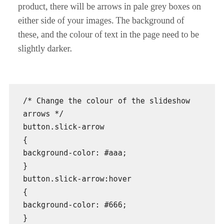product, there will be arrows in pale grey boxes on either side of your images. The background of these, and the colour of text in the page need to be slightly darker.
[Figure (screenshot): A grey code block containing CSS code to change the colour of slideshow arrows and text. The code includes selectors button.slick-arrow with background-color: #aaa; and button.slick-arrow:hover with background-color: #666; and a comment about changing the colour of text with .view-page-wrapper .by-seller-section, .meat-skirt .description,]